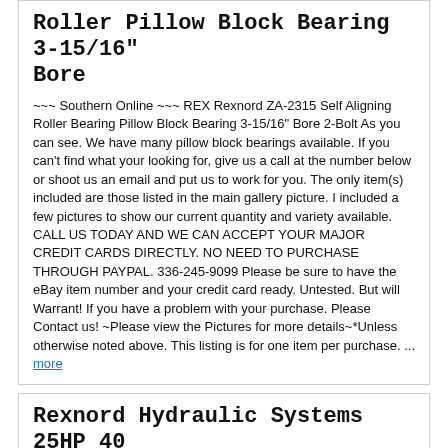Roller Pillow Block Bearing 3-15/16" Bore
~~~ Southern Online ~~~ REX Rexnord ZA-2315 Self Aligning Roller Bearing Pillow Block Bearing 3-15/16" Bore 2-Bolt As you can see. We have many pillow block bearings available. If you can't find what your looking for, give us a call at the number below or shoot us an email and put us to work for you. The only item(s) included are those listed in the main gallery picture. I included a few pictures to show our current quantity and variety available. CALL US TODAY AND WE CAN ACCEPT YOUR MAJOR CREDIT CARDS DIRECTLY. NO NEED TO PURCHASE THROUGH PAYPAL. 336-245-9099 Please be sure to have the eBay item number and your credit card ready. Untested. But will Warrant! If you have a problem with your purchase. Please Contact us! ~Please view the Pictures for more details~*Unless otherwise noted above. This listing is for one item per purchase. ... more
Rexnord Hydraulic Systems 25HP 40 Gallon Hydraulic Pump, Racine PFG A1B0 13FR
Rexnord Hydraulic Systems 25HP 40 Gallon Hydraulic Pump For sale- a Rexnord Hydraulic Systems Division NO. 78695 40 GAL. Hydraulic Pump. I don't know whether the 78695 is a model number or a serial number. And the"40" appears to be stamped over another number. Looks like maybe 25? The reservoir appears to me to be too large to be 25 gallon. So 40 is probably correct. Powered by a Lincoln Multiguard 25HP electric motor. Which unfortunately is 3 phase. As that rules out any testing by me. I think this thing would look pretty nice if I wiped all